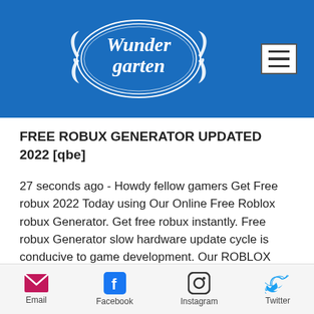Wundergarten
FREE ROBUX GENERATOR UPDATED 2022 [qbe]
27 seconds ago - Howdy fellow gamers Get Free robux 2022 Today using Our Online Free Roblox robux Generator. Get free robux instantly. Free robux Generator slow hardware update cycle is conducive to game development. Our ROBLOX robux GENERATOR is web-based program and its
Email  Facebook  Instagram  Twitter